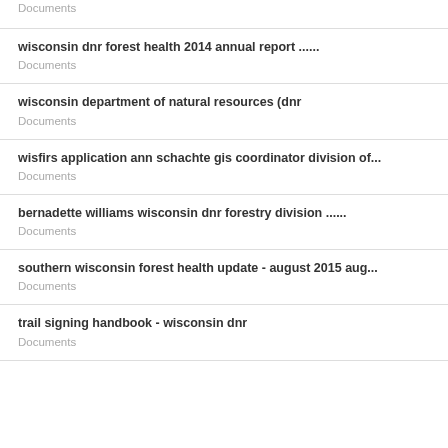Documents
wisconsin dnr forest health 2014 annual report ......
Documents
wisconsin department of natural resources (dnr
Documents
wisfirs application ann schachte gis coordinator division of...
Documents
bernadette williams wisconsin dnr forestry division ......
Documents
southern wisconsin forest health update - august 2015 aug...
Documents
trail signing handbook - wisconsin dnr
Documents